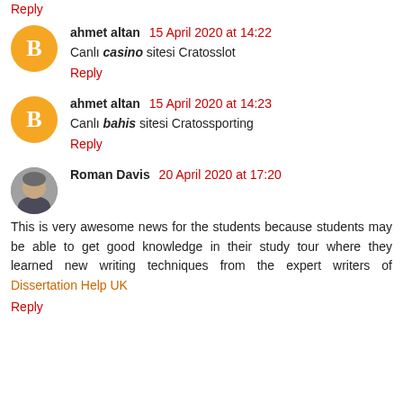Reply
ahmet altan  15 April 2020 at 14:22
Canlı casino sitesi Cratosslot
Reply
ahmet altan  15 April 2020 at 14:23
Canlı bahis sitesi Cratossporting
Reply
Roman Davis  20 April 2020 at 17:20
This is very awesome news for the students because students may be able to get good knowledge in their study tour where they learned new writing techniques from the expert writers of Dissertation Help UK
Reply